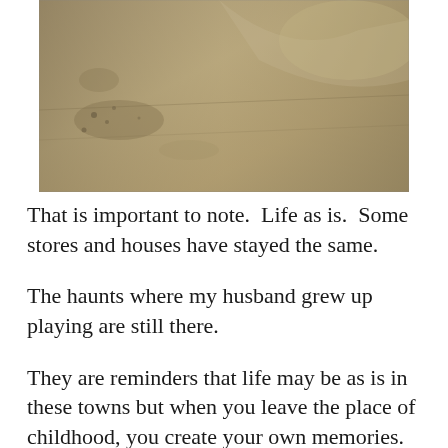[Figure (photo): Aerial or close-up photograph of sandy/dusty terrain with subtle textures, lines, and surface markings visible in muted brown and tan tones.]
That is important to note.  Life as is.  Some stores and houses have stayed the same.
The haunts where my husband grew up playing are still there.
They are reminders that life may be as is in these towns but when you leave the place of childhood, you create your own memories.  New